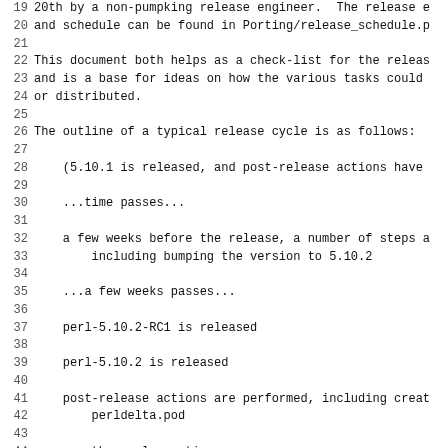19 20th by a non-pumpking release engineer.  The release e
20 and schedule can be found in Porting/release_schedule.p
21
22 This document both helps as a check-list for the releas
23 and is a base for ideas on how the various tasks could
24 or distributed.
25
26 The outline of a typical release cycle is as follows:
27
28     (5.10.1 is released, and post-release actions have
29
30     ...time passes...
31
32     a few weeks before the release, a number of steps a
33         including bumping the version to 5.10.2
34
35     ...a few weeks passes...
36
37     perl-5.10.2-RC1 is released
38
39     perl-5.10.2 is released
40
41     post-release actions are performed, including creat
42         perldelta.pod
43
44     ... the cycle continues ...
45
46
47 =head1 DETAILS
48
49 Some of the tasks described below apply to all four typ
50 release of Perl. (blead, RC, final release of maint, fi